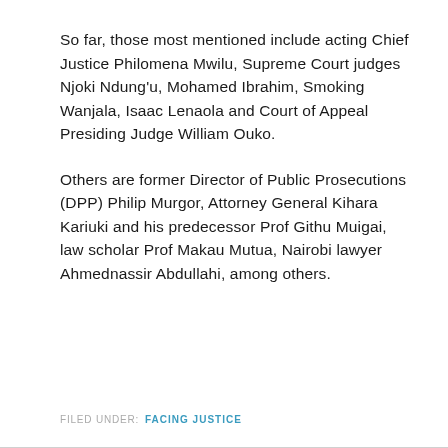So far, those most mentioned include acting Chief Justice Philomena Mwilu, Supreme Court judges Njoki Ndung'u, Mohamed Ibrahim, Smoking Wanjala, Isaac Lenaola and Court of Appeal Presiding Judge William Ouko.
Others are former Director of Public Prosecutions (DPP) Philip Murgor, Attorney General Kihara Kariuki and his predecessor Prof Githu Muigai, law scholar Prof Makau Mutua, Nairobi lawyer Ahmednassir Abdullahi, among others.
FILED UNDER: FACING JUSTICE